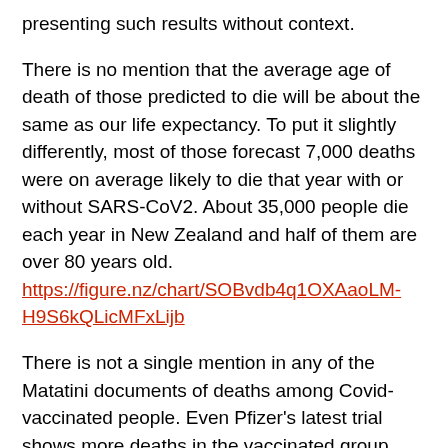presenting such results without context.
There is no mention that the average age of death of those predicted to die will be about the same as our life expectancy. To put it slightly differently, most of those forecast 7,000 deaths were on average likely to die that year with or without SARS-CoV2. About 35,000 people die each year in New Zealand and half of them are over 80 years old. https://figure.nz/chart/SOBvdb4q1OXAaoLM-H9S6kQLicMFxLijb
There is not a single mention in any of the Matatini documents of deaths among Covid-vaccinated people. Even Pfizer's latest trial shows more deaths in the vaccinated group compared to the unvaccinated. https://www.nejm.org/doi/full/10.1056/NEJMoa2110345.